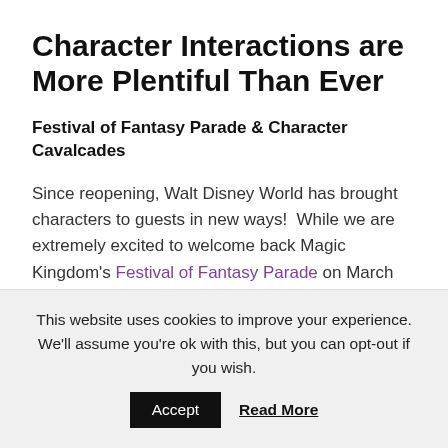Character Interactions are More Plentiful Than Ever
Festival of Fantasy Parade & Character Cavalcades
Since reopening, Walt Disney World has brought characters to guests in new ways!  While we are extremely excited to welcome back Magic Kingdom's Festival of Fantasy Parade on March 9th, we love the cavalcades so much!  That's why we are thrilled about the news of new cavalcades coming!
This website uses cookies to improve your experience. We'll assume you're ok with this, but you can opt-out if you wish.